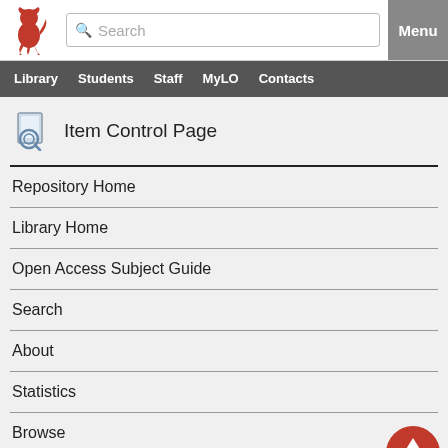[Figure (logo): Red heraldic lion logo on white background]
Search | Menu
Library | Students | Staff | MyLO | Contacts
Item Control Page
Repository Home
Library Home
Open Access Subject Guide
Search
About
Statistics
Browse